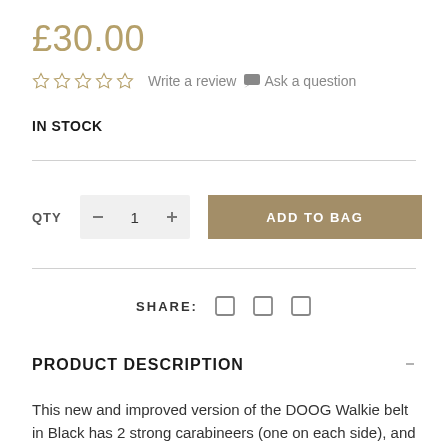£30.00
☆☆☆☆☆  Write a review  💬 Ask a question
IN STOCK
QTY  −  1  +   ADD TO BAG
SHARE:
PRODUCT DESCRIPTION
This new and improved version of the DOOG Walkie belt in Black has 2 strong carabineers (one on each side), and bigger front pockets to fit the larger sized phones (pocket